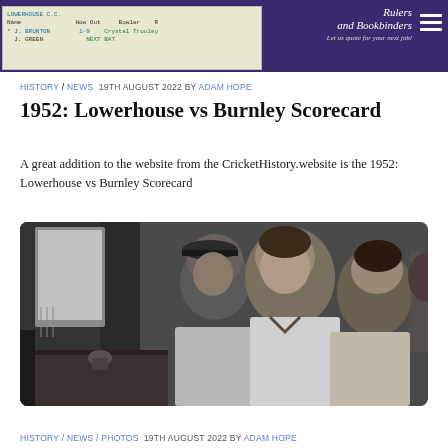Rulers and Bookbinders — Let us quote for your next job!
HISTORY / NEWS  19TH AUGUST 2022 BY ADAM HOPE
1952: Lowerhouse vs Burnley Scorecard
A great addition to the website from the CricketHistory.website is the 1952: Lowerhouse vs Burnley Scorecard
[Figure (photo): Black and white photograph of young cricket players in whites sitting and watching from what appears to be a pavilion, looking out through a window]
HISTORY / NEWS / PHOTOS  19TH AUGUST 2022 BY ADAM HOPE